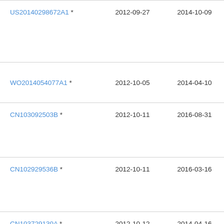| Patent | Filing Date | Publication Date | Assignee |
| --- | --- | --- | --- |
| US20140298672A1 * | 2012-09-27 | 2014-10-09 | Ana... Tec... |
| WO2014054077A1 * | 2012-10-05 | 2014-04-10 | □□□□ |
| CN103092503B * | 2012-10-11 | 2016-08-31 | □□□□ |
| CN102929536B * | 2012-10-11 | 2016-03-16 | □□□□ |
| CN103729130A * | 2012-10-12 | 2014-04-16 | □□□□ |
| US8694791B1 * | 2012-10-15 | 2014-04-08 | Go... |